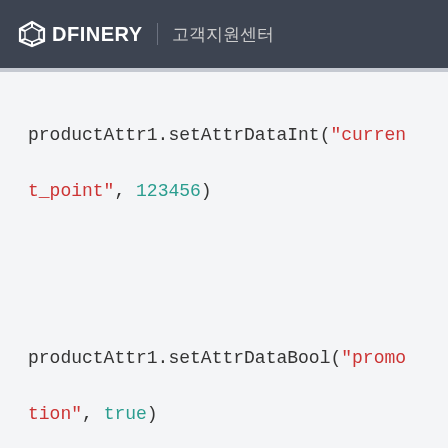DFINERY 고객지원센터
productAttr1.setAttrDataInt("current_point", 123456)

productAttr1.setAttrDataBool("promotion", true)

    // Product Model
    let productModel1 =
adBrix.createCommerceProductDataWithAttr(
        productId: